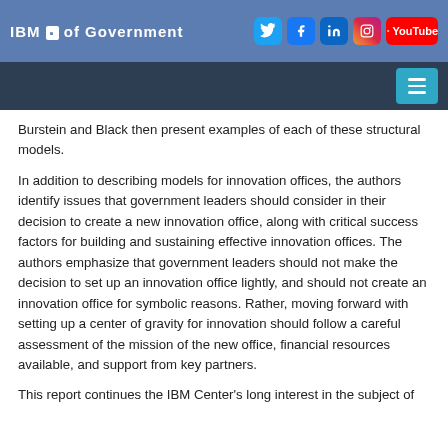IBM Center of Government — social media links: Twitter, Facebook, LinkedIn, Instagram, YouTube
Burstein and Black then present examples of each of these structural models.
In addition to describing models for innovation offices, the authors identify issues that government leaders should consider in their decision to create a new innovation office, along with critical success factors for building and sustaining effective innovation offices. The authors emphasize that government leaders should not make the decision to set up an innovation office lightly, and should not create an innovation office for symbolic reasons. Rather, moving forward with setting up a center of gravity for innovation should follow a careful assessment of the mission of the new office, financial resources available, and support from key partners.
This report continues the IBM Center's long interest in the subject of